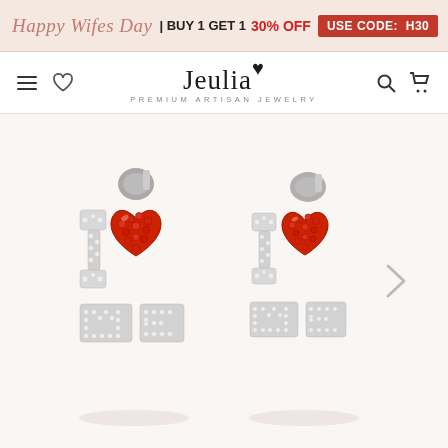Happy Wifes Day | BUY 1 GET 1  30% OFF  USE CODE: H30
[Figure (logo): Jeulia Premium Artisan Jewelry logo with navigation icons (hamburger menu, heart, search, cart)]
[Figure (photo): Two silver stud earrings reading 'I Love ME' with white crystal-encrusted letters and a red crystal heart, shown on light pink background]